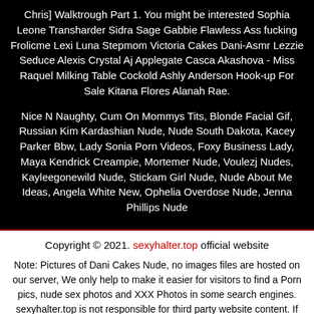Chris] Walktrough Part 1. You might be interested Sophia Leone Transharder Sidra Sage Gabbie Flawless Ass fucking Frolicme Lexi Luna Stepmom Victoria Cakes Dani-Asmr Lezzie Seduce Alexis Crystal Aj Applegate Casca Akashova - Miss Raquel Milking Table Cockold Ashly Anderson Hook-up For Sale Kitana Flores Alanah Rae.
Nice N Naughty, Cum On Mommys Tits, Blonde Facial Gif, Russian Kim Kardashian Nude, Nude South Dakota, Kacey Parker Bbw, Lady Sonia Porn Videos, Foxy Business Lady, Maya Kendrick Creampie, Mortemer Nude, Voulezj Nudes, Kayleegonewild Nude, Stickam Girl Nude, Nude About Me Ideas, Angela White New, Ophelia Overdose Nude, Jenna Phillips Nude
Copyright © 2021. sexyhalter.top official website
Note: Pictures of Dani Cakes Nude, no images files are hosted on our server, We only help to make it easier for visitors to find a Porn pics, nude sex photos and XXX Photos in some search engines. sexyhalter.top is not responsible for third party website content. If one of this file is your intelectual property (copyright infringement) or child pornography / immature sounds, please send report to abusedmsa[at]protonmail.com.